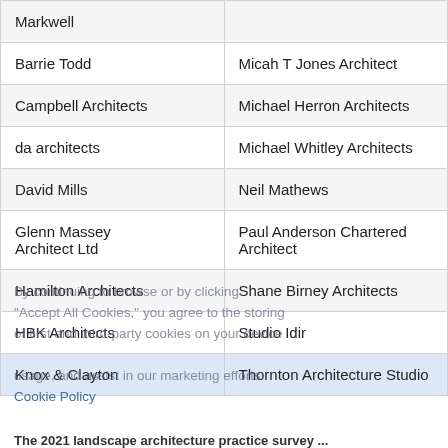| Markwell |  |
| Barrie Todd | Micah T Jones Architect |
| Campbell Architects | Michael Herron Architects |
| da architects | Michael Whitley Architects |
| David Mills | Neil Mathews |
| Glenn Massey Architect Ltd | Paul Anderson Chartered Architect |
| Hamilton Architects | Shane Birney Architects |
| HBK Architects | Studio Idir |
| Knox & Clayton | Thornton Architecture Studio |
The 2021 landscape architecture practice survey ...